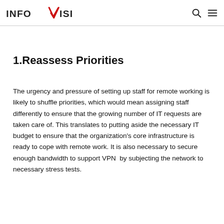INFOVISION
1.Reassess Priorities
The urgency and pressure of setting up staff for remote working is likely to shuffle priorities, which would mean assigning staff differently to ensure that the growing number of IT requests are taken care of. This translates to putting aside the necessary IT budget to ensure that the organization's core infrastructure is ready to cope with remote work. It is also necessary to secure enough bandwidth to support VPN  by subjecting the network to necessary stress tests.